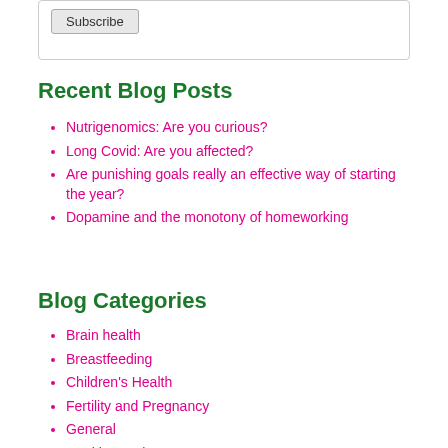Subscribe
Recent Blog Posts
Nutrigenomics: Are you curious?
Long Covid: Are you affected?
Are punishing goals really an effective way of starting the year?
Dopamine and the monotony of homeworking
Blog Categories
Brain health
Breastfeeding
Children's Health
Fertility and Pregnancy
General
Healthy Recipes